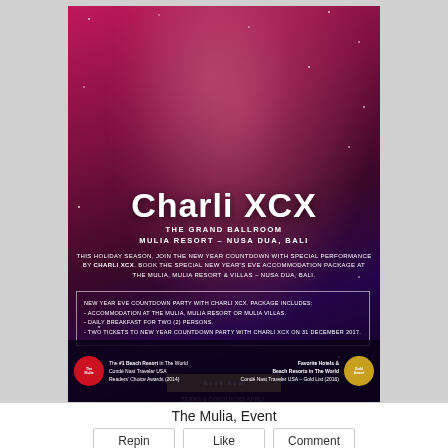[Figure (photo): Event promotional poster for Charli XCX at The Grand Ballroom, Mulia Resort – Nusa Dua, Bali. Shows a young woman with dark hair against a red/pink and dark purple starry background.]
Charli XCX
THE GRAND BALLROOM
MULIA RESORT – NUSA DUA, BALI
THIS HOLIDAY SEASON, JOIN THE NEW YEAR COUNTDOWN WITH SPECIAL PERFORMANCE BY CHARLI XCX. BOOK THE SPECIAL NEW YEAR'S EVE ACCOMMODATION PACKAGE AT THE MULIA, MULIA RESORT & VILLAS – NUSA DUA, BALI.
NEW YEAR EVE COUNTDOWN PARTY WITH CHARLI XCX. PACKAGE INCLUDES:
- ACCOMMODATION AT THE MULIA, MULIA RESORT OR MULIA VILLAS.
- DAILY BREAKFAST FOR TWO (2) PERSONS.
- TWO TICKETS TO NEW YEAR COUNTDOWN PARTY WITH CHARLI XCX ON 31 DECEMBER 2017.
Book Now
TERMS & CONDITIONS APPLY.
The #1 Beach Resort in The World
Condé Nast Traveler USA
Readers' Choice Awards (2014)
Favorite Hotels &
Beach Resorts in The World
Condé Nast Traveler USA – Gold List (2016)
The Mulia, Event
Repin
Like
Comment